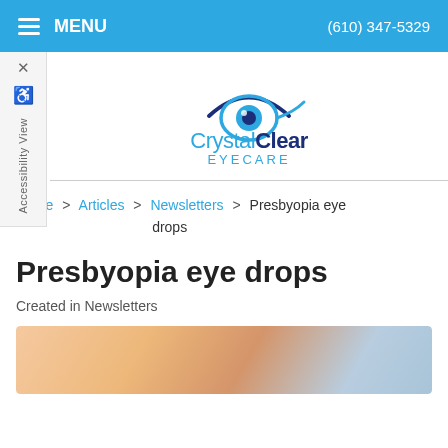MENU   (610) 347-5329
[Figure (logo): CrystalClear Eyecare logo with stylized eye icon above text]
Home > Articles > Newsletters > Presbyopia eye drops
Presbyopia eye drops
Created in Newsletters
[Figure (photo): Close-up photo of a person applying eye drops, skin tones visible]